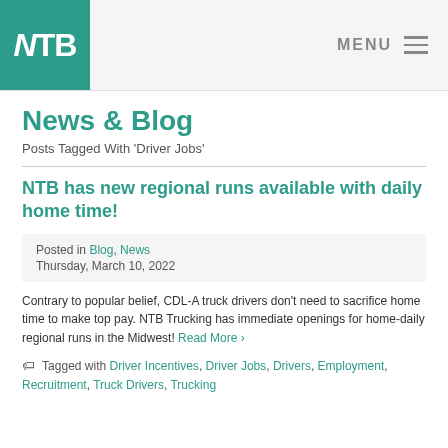NTB | MENU
News & Blog
Posts Tagged With 'Driver Jobs'
NTB has new regional runs available with daily home time!
Posted in Blog, News
Thursday, March 10, 2022
Contrary to popular belief, CDL-A truck drivers don't need to sacrifice home time to make top pay. NTB Trucking has immediate openings for home-daily regional runs in the Midwest! Read More ›
Tagged with Driver Incentives, Driver Jobs, Drivers, Employment, Recruitment, Truck Drivers, Trucking